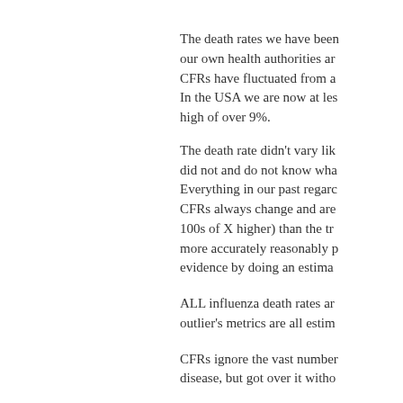The death rates we have been our own health authorities ar CFRs have fluctuated from a In the USA we are now at les high of over 9%. The death rate didn't vary lik did not and do not know wha Everything in our past regarc CFRs always change and are 100s of X higher) than the tr more accurately reasonably p evidence by doing an estima
ALL influenza death rates ar outlier's metrics are all estim
CFRs ignore the vast number disease, but got over it witho